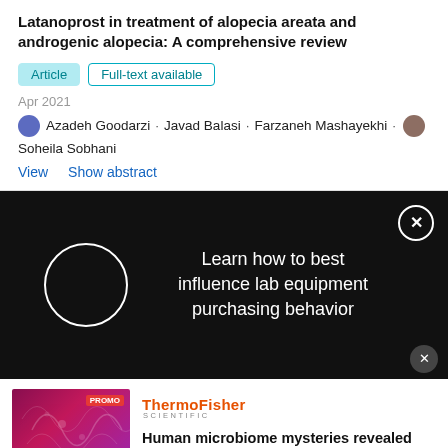Latanoprost in treatment of alopecia areata and androgenic alopecia: A comprehensive review
Article | Full-text available
Apr 2021
Azadeh Goodarzi · Javad Balasi · Farzaneh Mashayekhi · Soheila Sobhani
View   Show abstract
[Figure (screenshot): Advertisement banner with black background showing a white circle/spinner icon on left and text 'Learn how to best influence lab equipment purchasing behavior' on right, with a close (X) button in the top right corner.]
[Figure (infographic): ThermoFisher Scientific promotional banner with a DNA strand microscopy image on the left and the headline 'Human microbiome mysteries revealed with modern science' on the right.]